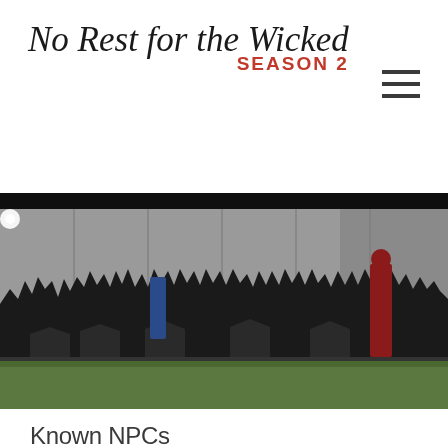No Rest for the Wicked SEASON 2
[Figure (photo): Group photo of approximately 30 costumed LARPers in post-apocalyptic/steampunk attire standing and kneeling in front of a concrete and chain-link fence wall, with grass in the foreground. One figure on the right wears a red outfit.]
Known NPCs
Machines: